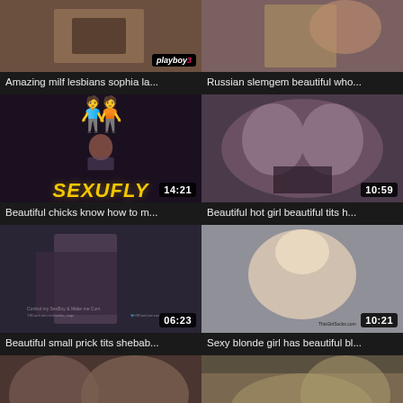[Figure (screenshot): Video thumbnail - Amazing milf lesbians sophia la... with Playboy3 badge]
Amazing milf lesbians sophia la...
[Figure (screenshot): Video thumbnail - Russian slemgem beautiful who...]
Russian slemgem beautiful who...
[Figure (screenshot): Video thumbnail - SEXUFLY animated logo, duration 14:21]
Beautiful chicks know how to m...
[Figure (screenshot): Video thumbnail - Beautiful hot girl beautiful tits h..., duration 10:59]
Beautiful hot girl beautiful tits h...
[Figure (screenshot): Video thumbnail - Beautiful small prick tits shebab..., duration 06:23]
Beautiful small prick tits shebab...
[Figure (screenshot): Video thumbnail - Sexy blonde girl has beautiful bl..., duration 10:21, ThisGirlSucks.com]
Sexy blonde girl has beautiful bl...
[Figure (screenshot): Video thumbnail - duration 10:03, partial view]
[Figure (screenshot): Video thumbnail - duration 21:01, partial view]